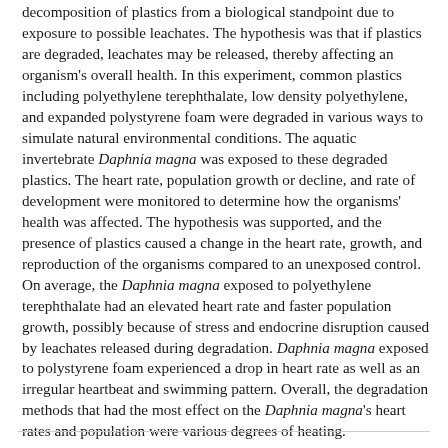decomposition of plastics from a biological standpoint due to exposure to possible leachates. The hypothesis was that if plastics are degraded, leachates may be released, thereby affecting an organism's overall health. In this experiment, common plastics including polyethylene terephthalate, low density polyethylene, and expanded polystyrene foam were degraded in various ways to simulate natural environmental conditions. The aquatic invertebrate Daphnia magna was exposed to these degraded plastics. The heart rate, population growth or decline, and rate of development were monitored to determine how the organisms' health was affected. The hypothesis was supported, and the presence of plastics caused a change in the heart rate, growth, and reproduction of the organisms compared to an unexposed control. On average, the Daphnia magna exposed to polyethylene terephthalate had an elevated heart rate and faster population growth, possibly because of stress and endocrine disruption caused by leachates released during degradation. Daphnia magna exposed to polystyrene foam experienced a drop in heart rate as well as an irregular heartbeat and swimming pattern. Overall, the degradation methods that had the most effect on the Daphnia magna's heart rates and population were various degrees of heating.